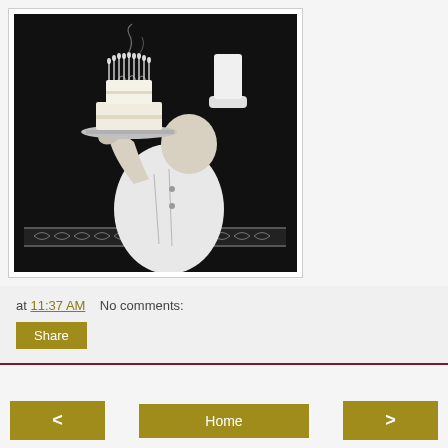[Figure (illustration): Black and white vintage illustration of a chef in a tall hat holding up a tray with a multi-tiered birthday cake topped with candles, set against a dark arched background with decorative border at the bottom.]
at 11:37 AM   No comments:
Share
< Home >